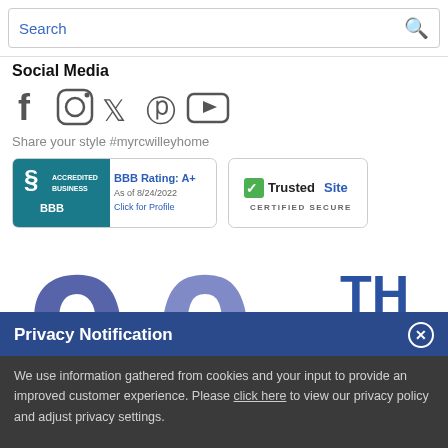Search
Social Media
[Figure (illustration): Social media icons: Facebook, Instagram, Twitter, Pinterest, YouTube]
Share your style #myrcwilleyhome
[Figure (logo): BBB Accredited Business badge with rating A+ as of 8/24/2022]
[Figure (logo): TrustedSite Certified Secure badge]
[Figure (illustration): RC Willey 90th Anniversary logo with large 90 and text ANNIVERSARY]
Privacy Notification
We use information gathered from cookies and your input to provide an improved customer experience. Please click here to view our privacy policy and adjust privacy settings.